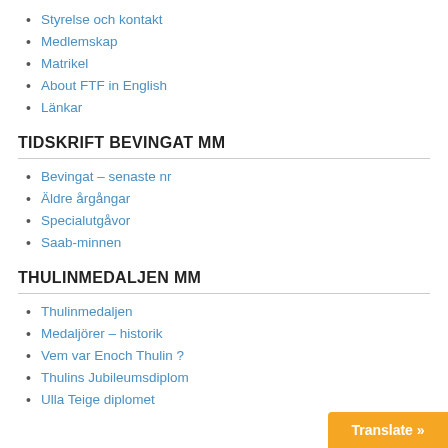Styrelse och kontakt
Medlemskap
Matrikel
About FTF in English
Länkar
TIDSKRIFT BEVINGAT MM
Bevingat – senaste nr
Äldre årgångar
Specialutgåvor
Saab-minnen
THULINMEDALJEN MM
Thulinmedaljen
Medaljörer – historik
Vem var Enoch Thulin ?
Thulins Jubileumsdiplom
Ulla Teige diplomet
Translate »